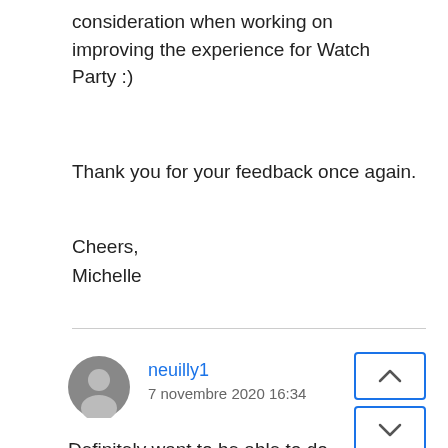consideration when working on improving the experience for Watch Party :)
Thank you for your feedback once again.
Cheers,
Michelle
neuilly1
7 novembre 2020 16:34
Definitely want to be able to do this. I'm very bummed because my friend and I planned to watch a whole show together and got through episode one and now we're stuck. What is the point of a watch part for only one episode?